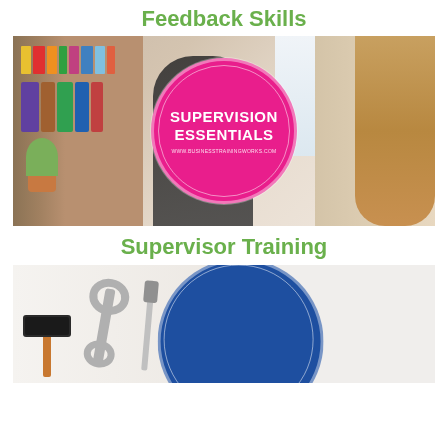Feedback Skills
[Figure (photo): Two people in an office with bookshelves. A pink circle overlay reads 'SUPERVISION ESSENTIALS' with URL www.businesstrainingworks.com]
Supervisor Training
[Figure (photo): Tools (hammer, wrench, screwdriver) on white background with a partially visible blue circle badge, bottom portion cut off]